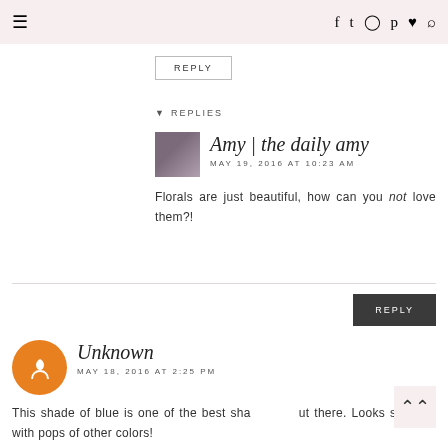≡  f  𝕏  ☷  P  ♥  🔍
REPLY
▼ REPLIES
Amy | the daily amy
MAY 19, 2016 AT 10:23 AM
Florals are just beautiful, how can you not love them?!
REPLY
Unknown
MAY 18, 2016 AT 2:25 PM
This shade of blue is one of the best shades out there. Looks so good with pops of other colors!